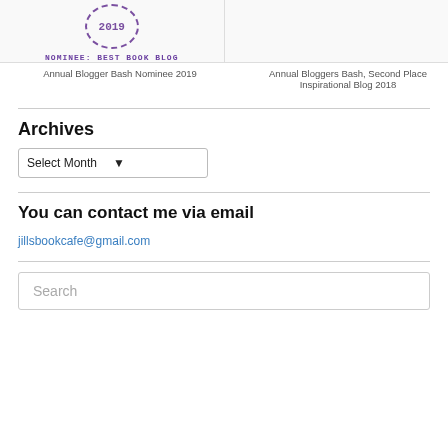[Figure (illustration): Stamp/badge image with '2019' and text 'NOMINEE: BEST BOOK BLOG' in purple, partially visible at top left]
[Figure (illustration): White/blank image area at top right, partially visible]
Annual Blogger Bash Nominee 2019
Annual Bloggers Bash, Second Place Inspirational Blog 2018
Archives
[Figure (screenshot): Dropdown select box with 'Select Month' label]
You can contact me via email
jillsbookcafe@gmail.com
Search